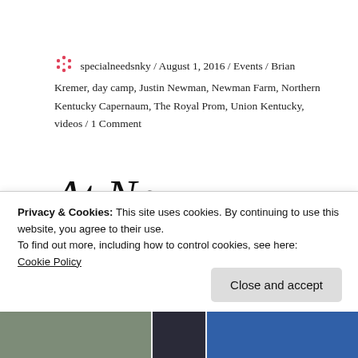specialneedsnky / August 1, 2016 / Events / Brian Kremer, day camp, Justin Newman, Newman Farm, Northern Kentucky Capernaum, The Royal Prom, Union Kentucky, videos / 1 Comment
At New Perceptions doors open to the
Privacy & Cookies: This site uses cookies. By continuing to use this website, you agree to their use. To find out more, including how to control cookies, see here: Cookie Policy
[Figure (photo): Bottom strip showing partial photographs, three sections side by side]